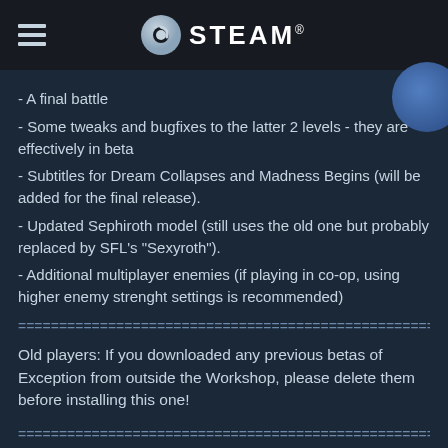STEAM
- A final battle
- Some tweaks and bugfixes to the latter 2 levels - they are effectively in beta
- Subtitles for Dream Collapses and Madness Begins (will be added for the final release).
- Updated Sephiroth model (still uses the old one but probably replaced by SFL's "Sexyroth").
- Additional multiplayer enemies (if playing in co-op, using higher enemy strenght settings is recommended)
=======================================================
Old players: If you downloaded any previous betas of Exception from outside the Workshop, please delete them before installing this one!
=======================================================